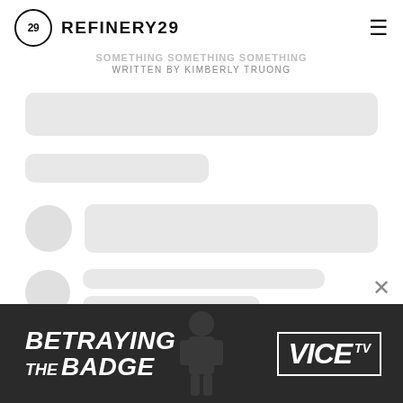REFINERY29
WRITTEN BY KIMBERLY TRUONG
[Figure (screenshot): Loading skeleton UI with grey rounded placeholder bars and circles representing content loading state]
[Figure (screenshot): Ad banner for 'Betraying the Badge' on VICE TV with dark background and figure silhouette]